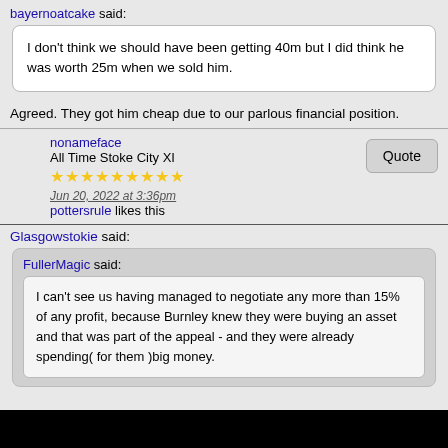bayernoatcake said:
I don't think we should have been getting 40m but I did think he was worth 25m when we sold him.
Agreed. They got him cheap due to our parlous financial position.
nonameface
All Time Stoke City XI
Jun 20, 2022 at 3:36pm
pottersrule likes this
Glasgowstokie said:
FullerMagic said:
I can't see us having managed to negotiate any more than 15% of any profit, because Burnley knew they were buying an asset and that was part of the appeal - and they were already spending( for them )big money.